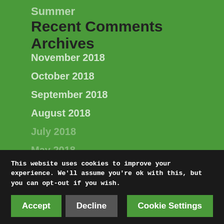Summer
Recent Comments
Archives
November 2018
October 2018
September 2018
August 2018
July 2018
May 2018
March 2018
This website uses cookies to improve your experience. We'll assume you're ok with this, but you can opt-out if you wish.